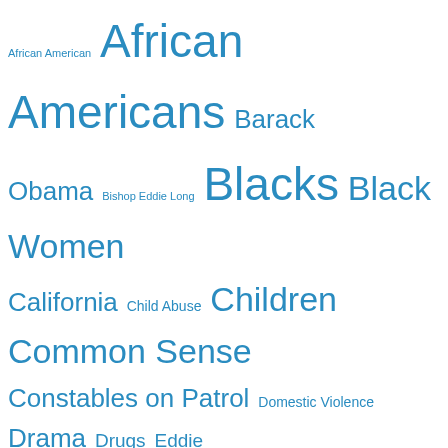[Figure (infographic): Tag cloud with terms of varying font sizes in blue, representing topics from a blog or website. Terms include: African American, African Americans, Barack Obama, Bishop Eddie Long, Blacks, Black Women, California, Child Abuse, Children, Common Sense, Constables on Patrol, Domestic Violence, Drama, Drugs, Eddie Long, Facebook, Faux Noise, Growing Up, Latinos, LGBT, Los Angeles, Love, Madison WI, Marriage, Michael Jackson, Mitrice Richardson, Motherhood, Murder, Music, New Birth Missionary Baptist Church, New Orleans, New York, President Barack Obama, President Obama, Racism, Rape, Republicans, Self-Respect, Self-Worth, Self Image, Sex, Shaniya Davis, The Eighties, The Nineties, The Seventies, The Sixties, TMZ.com, Twitter, United States, Wisconsin]